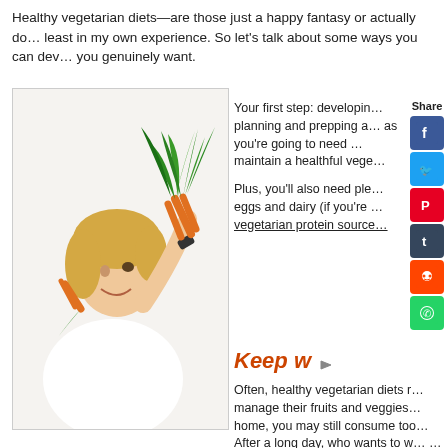Healthy vegetarian diets—are those just a happy fantasy or actually do… least in my own experience. So let's talk about some ways you can dev… you genuinely want.
[Figure (photo): Woman holding a bunch of fresh carrots with green leafy tops, smiling, white background]
Your first step: developin… planning and prepping a… as you're going to need … maintain a healthful vege…
Plus, you'll also need ple… eggs and dairy (if you're … vegetarian protein source…
[Figure (infographic): Social share sidebar with Facebook, Twitter, Pinterest, Tumblr, Reddit, WhatsApp icons]
Keep w…
Often, healthy vegetarian diets r… manage their fruits and veggies… home, you may still consume too… After a long day, who wants to w… …it diets at their prices…